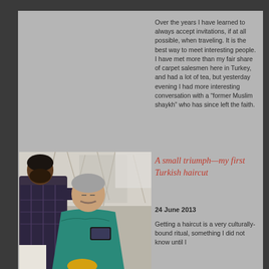Over the years I have learned to always accept invitations, if at all possible, when traveling. It is the best way to meet interesting people. I have met more than my fair share of carpet salesmen here in Turkey, and had a lot of tea, but yesterday evening I had more interesting conversation with a “former Muslim shaykh” who has since left the faith.
[Figure (photo): Photo of a barber cutting a man's hair in a Turkish barbershop. The customer is wearing a teal/green barber cape and looking at his phone. The barber is wearing a plaid shirt.]
A small triumph—my first Turkish haircut
24 June 2013
Getting a haircut is a very culturally-bound ritual, something I did not know until I